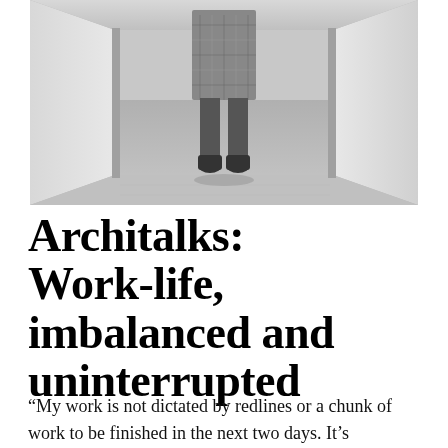[Figure (photo): Black and white photograph of a person walking away through a rectangular concrete tunnel or frame, wearing a patterned skirt and dark boots. The image is framed tightly by white concrete walls on both sides.]
Architalks: Work-life, imbalanced and uninterrupted
“My work is not dictated by redlines or a chunk of work to be finished in the next two days. It’s